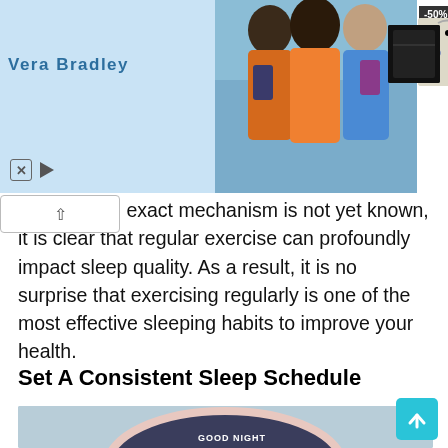[Figure (photo): Vera Bradley advertisement banner showing girls with backpacks, two product bags (one floral patterned, one black), and a -50% discount badge]
e. While the exact mechanism is not yet known, it is clear that regular exercise can profoundly impact sleep quality. As a result, it is no surprise that exercising regularly is one of the most effective sleeping habits to improve your health.
Set A Consistent Sleep Schedule
[Figure (photo): A sleep mask on a light blue background with 'GOOD NIGHT' text and an anchor illustration embroidered on it]